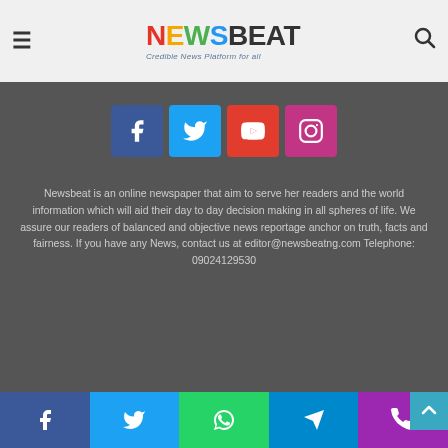[Figure (logo): Newsbeat logo with colorful letters and tagline 'Credible News Platform for all']
[Figure (infographic): Social media icon buttons: Facebook (blue), Twitter (light blue), YouTube (red), Instagram (pink/purple)]
Newsbeat is an online newspaper that aim to serve her readers and the world information which will aid their day to day decision making in all spheres of life. We assure our readers of balanced and objective news reportage anchor on truth, facts and fairness. If you have any News, contact us at editor@newsbeatng.com Telephone: 09024129530
© Copyright 2022. All Rights Reserved. | Outlook Media and
[Figure (infographic): Bottom social share bar with Facebook, Twitter, WhatsApp, Telegram, and phone icons]